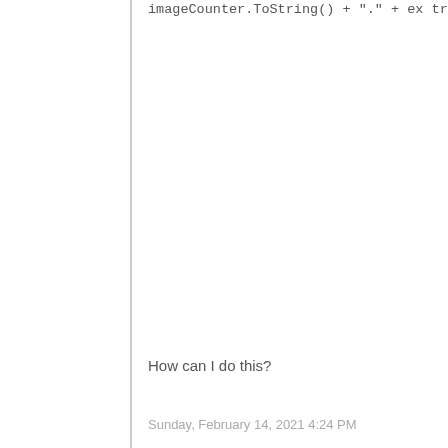imageCounter.toString() + "." + ex
try
{
    RC2 crypt = RC2.Create();
    ICryptoTransform transform = cryp

    var output = new CryptoStream(Fil
        new ToBase64Transform(),
        CryptoStreamMode.Write);

    imageInfo.Bitmap.Save(output, im
}

catch (System.Runtime.InteropServic
{
    return null;
}
How can I do this?
Sunday, February 14, 2021 4:24 PM